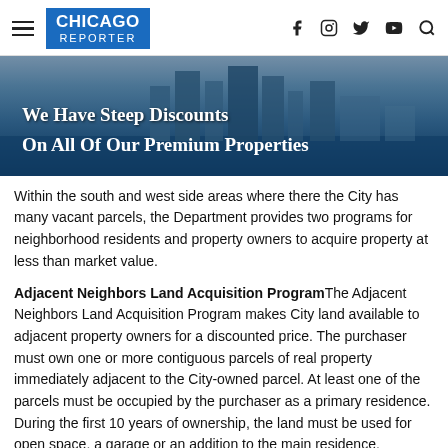Chicago Reporter
[Figure (photo): Banner image of Chicago skyline with text overlay: 'We Have Steep Discounts On All Of Our Premium Properties']
Within the south and west side areas where there the City has many vacant parcels, the Department provides two programs for neighborhood residents and property owners to acquire property at less than market value.
Adjacent Neighbors Land Acquisition Program The Adjacent Neighbors Land Acquisition Program makes City land available to adjacent property owners for a discounted price. The purchaser must own one or more contiguous parcels of real property immediately adjacent to the City-owned parcel. At least one of the parcels must be occupied by the purchaser as a primary residence. During the first 10 years of ownership, the land must be used for open space, a garage or an addition to the main residence.